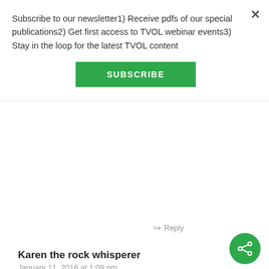Subscribe to our newsletter1) Receive pdfs of our special publications2) Get first access to TVOL webinar events3) Stay in the loop for the latest TVOL content
SUBSCRIBE
Reply
Karen the rock whisperer
January 11, 2016 at 1:09 pm
While evolution was taught in my Catholic high school, I was an engineer wannabe